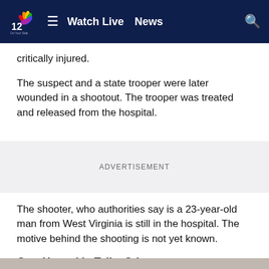Watch Live  News
critically injured.
The suspect and a state trooper were later wounded in a shootout. The trooper was treated and released from the hospital.
ADVERTISEMENT
The shooter, who authorities say is a 23-year-old man from West Virginia is still in the hospital. The motive behind the shooting is not yet known.
Gov. Youngkin Talks Crime